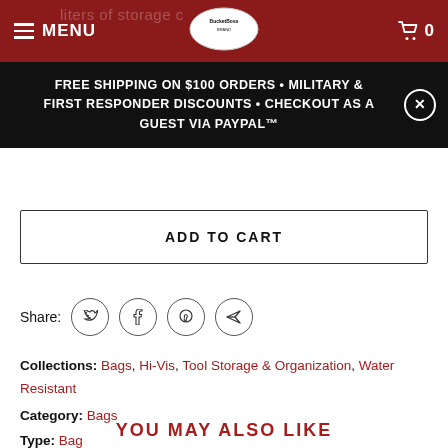MENU | BucketBoss Brand Logo | Cart 0
FREE SHIPPING ON $100 ORDERS • MILITARY & FIRST RESPONDER DISCOUNTS • CHECKOUT AS A GUEST VIA PAYPAL™
ADD TO CART
Share:
Collections: Bags, Hi-Vis, Tool Storage & Organization, Water Resistant
Category: Bags
Type: Bag
YOU MAY ALSO LIKE